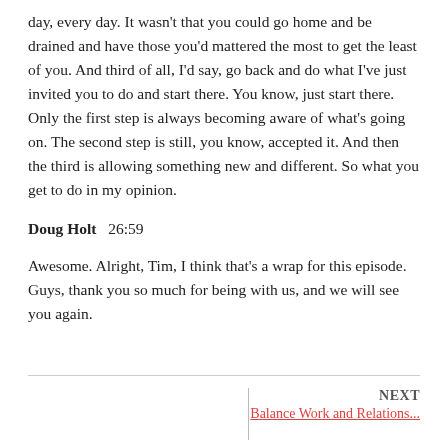day, every day. It wasn't that you could go home and be drained and have those you'd mattered the most to get the least of you. And third of all, I'd say, go back and do what I've just invited you to do and start there. You know, just start there. Only the first step is always becoming aware of what's going on. The second step is still, you know, accepted it. And then the third is allowing something new and different. So what you get to do in my opinion.
Doug Holt  26:59
Awesome. Alright, Tim, I think that's a wrap for this episode. Guys, thank you so much for being with us, and we will see you again.
NEXT
Balance Work and Relations...